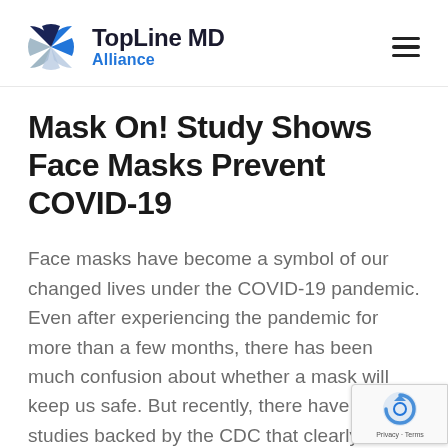TopLine MD Alliance
Mask On! Study Shows Face Masks Prevent COVID-19
Face masks have become a symbol of our changed lives under the COVID-19 pandemic. Even after experiencing the pandemic for more than a few months, there has been much confusion about whether a mask will keep us safe. But recently, there have been studies backed by the CDC that clearly provide important data to confirm that